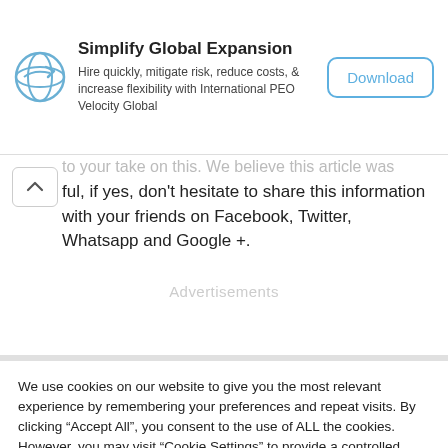[Figure (logo): Velocity Global logo - circular icon with stylized globe/arrow in blue]
Simplify Global Expansion
Hire quickly, mitigate risk, reduce costs, & increase flexibility with International PEO Velocity Global
Download
ful, if yes, don't hesitate to share this information with your friends on Facebook, Twitter, Whatsapp and Google +.
Advertisements
We use cookies on our website to give you the most relevant experience by remembering your preferences and repeat visits. By clicking “Accept All”, you consent to the use of ALL the cookies. However, you may visit "Cookie Settings" to provide a controlled consent.
Cookie Settings
Accept All